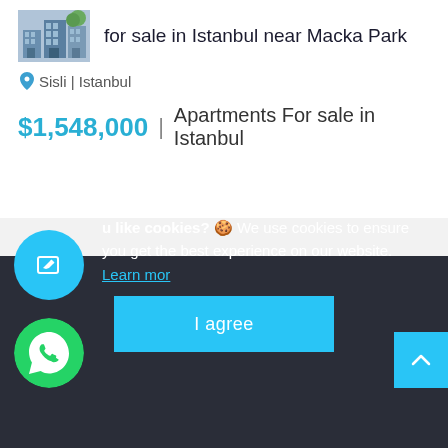[Figure (photo): Thumbnail photo of an apartment building exterior]
for sale in Istanbul near Macka Park
📍 Sisli | Istanbul
$1,548,000  |  Apartments For sale in Istanbul
[Figure (logo): Real estate company logo with city skyline icon]
u like cookies? 🍪 We use cookies to ensure you get the best experience on our website. Learn more
I agree